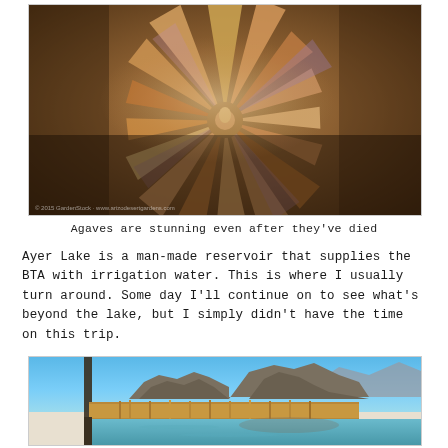[Figure (photo): Close-up photograph of a dead agave plant showing radiating leaves with warm orange, pink, purple and tan coloration against a blurred background. A small watermark text is visible in the bottom-left corner.]
Agaves are stunning even after they've died
Ayer Lake is a man-made reservoir that supplies the BTA with irrigation water. This is where I usually turn around. Some day I'll continue on to see what's beyond the lake, but I simply didn't have the time on this trip.
[Figure (photo): Landscape photograph of Ayer Lake showing calm water in the foreground reflecting the scene, with golden brown reeds and grasses along the shore, rugged rocky cliffs and formations in the middle ground, and a clear blue sky. Mountains are visible in the far background.]